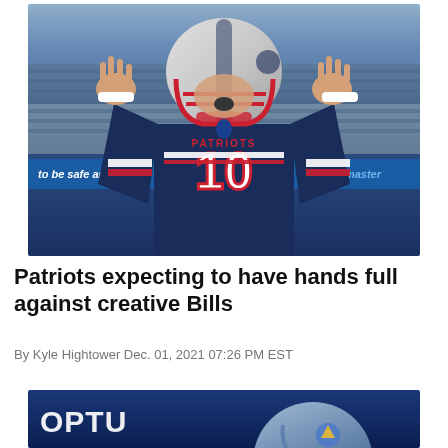[Figure (photo): New England Patriots quarterback #10 in navy uniform with arms raised, wearing white helmet with red facemask, at NFL stadium during warmups]
Patriots expecting to have hands full against creative Bills
By Kyle Hightower Dec. 01, 2021 07:26 PM EST
[Figure (photo): NFL player wearing Tennessee Titans helmet, partially visible at bottom of page, with OPTU (Optus) advertising banner in background]